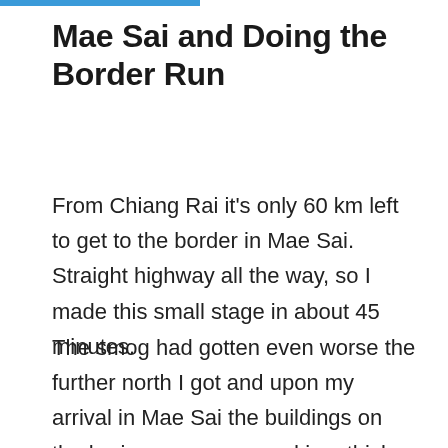Mae Sai and Doing the Border Run
From Chiang Rai it's only 60 km left to get to the border in Mae Sai. Straight highway all the way, so I made this small stage in about 45 minutes.
The smog had gotten even worse the further north I got and upon my arrival in Mae Sai the buildings on the horizon were covered in a thick haze. As I was closing in